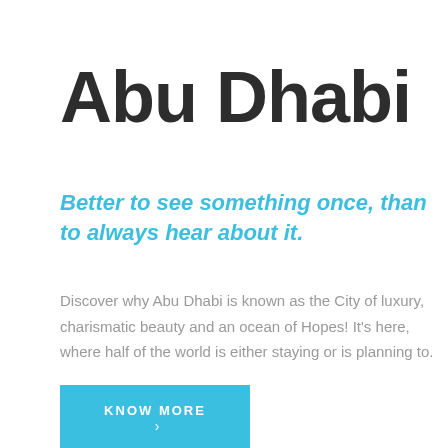Abu Dhabi
Better to see something once, than to always hear about it.
Discover why Abu Dhabi is known as the City of luxury, charismatic beauty and an ocean of Hopes! It's here, where half of the world is either staying or is planning to.
KNOW MORE ›